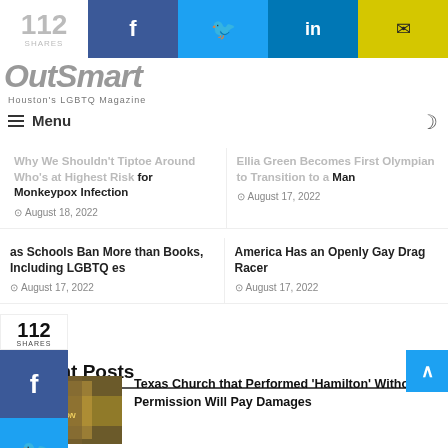112 SHARES | Facebook | Twitter | LinkedIn | Email
[Figure (logo): OutSmart Houston's LGBTQ Magazine logo]
Menu
Why We Shouldn't Tiptoe Around Who's at Highest Risk for Monkeypox Infection
August 18, 2022
Ellia Green Becomes First Olympian to Transition to a Man
August 17, 2022
112
SHARES
as Schools Ban More than Books, Including LGBTQ es
August 17, 2022
America Has an Openly Gay Drag Racer
August 17, 2022
Recent Posts
Texas Church that Performed 'Hamilton' Without Permission Will Pay Damages